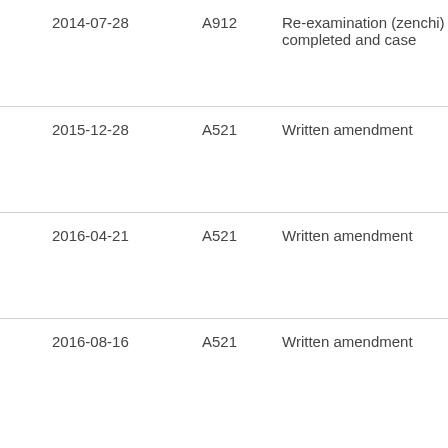| 2014-07-28 | A912 | Re-examination (zenchi) completed and case |
| 2015-12-28 | A521 | Written amendment |
| 2016-04-21 | A521 | Written amendment |
| 2016-08-16 | A521 | Written amendment |